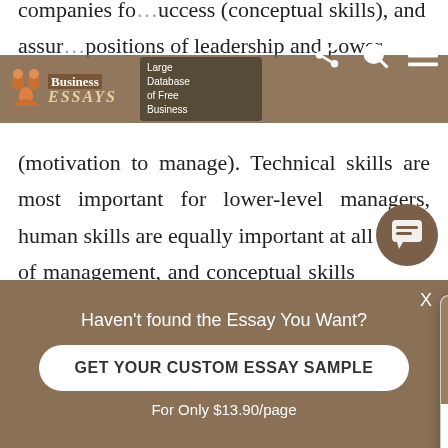Business Essays – Large Database of Free Business Essays
companies fo… uccess (conceptual skills), and assur… positions of leadership and power (motivation to manage). Technical skills are most important for lower-level managers, human skills are equally important at all levels of management, and conceptual skills increase in importance as… the managerial ranks… that managers make… understand what it tak… at the top mistakes … most important mista…
[Figure (screenshot): Chat popup with avatar of a woman named Dana. Header says 'Hi! I'm Dana'. Body text: 'Would you like to get such a paper? How about receiving a customized one?' with a 'Check it out' link.]
Haven't found the Essay You Want?
GET YOUR CUSTOM ESSAY SAMPLE
For Only $13.90/page